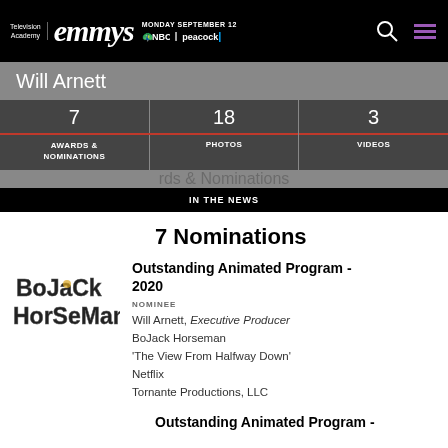Television Academy emmys MONDAY SEPTEMBER 12 NBC | peacock
Will Arnett
7 AWARDS & NOMINATIONS | 18 PHOTOS | 3 VIDEOS | IN THE NEWS
7 Nominations
[Figure (logo): BoJack Horseman stylized logo]
Outstanding Animated Program - 2020
NOMINEE
Will Arnett, Executive Producer
BoJack Horseman
'The View From Halfway Down'
Netflix
Tornante Productions, LLC
Outstanding Animated Program -